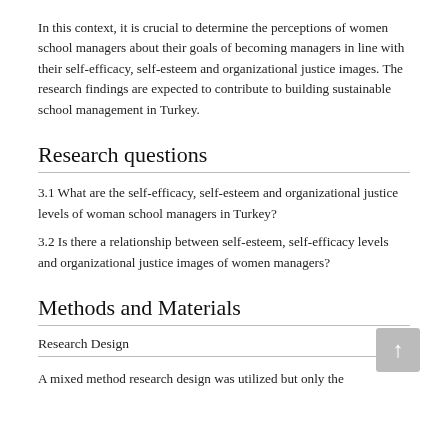In this context, it is crucial to determine the perceptions of women school managers about their goals of becoming managers in line with their self-efficacy, self-esteem and organizational justice images. The research findings are expected to contribute to building sustainable school management in Turkey.
Research questions
3.1 What are the self-efficacy, self-esteem and organizational justice levels of woman school managers in Turkey?
3.2 Is there a relationship between self-esteem, self-efficacy levels and organizational justice images of women managers?
Methods and Materials
Research Design
A mixed method research design was utilized but only the